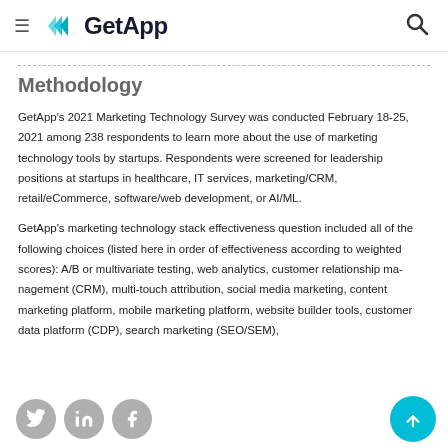GetApp
Methodology
GetApp's 2021 Marketing Technology Survey was conducted February 18-25, 2021 among 238 respondents to learn more about the use of marketing technology tools by startups. Respondents were screened for leadership positions at startups in healthcare, IT services, marketing/CRM, retail/eCommerce, software/web development, or AI/ML.
GetApp's marketing technology stack effectiveness question included all of the following choices (listed here in order of effectiveness according to weighted scores): A/B or multivariate testing, web analytics, customer relationship management (CRM), multi-touch attribution, social media marketing, content marketing platform, mobile marketing platform, website builder tools, customer data platform (CDP), search marketing (SEO/SEM),